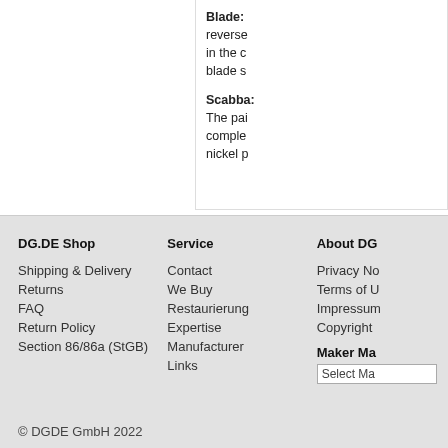Blade: reverse... in the c... blade s...
Scabba... The pai... comple... nickel p...
DG.DE Shop
Shipping & Delivery
Returns
FAQ
Return Policy
Section 86/86a (StGB)
Service
Contact
We Buy
Restaurierung
Expertise
Manufacturer
Links
About DG
Privacy No...
Terms of U...
Impressum
Copyright
Maker Ma...
Select Ma...
© DGDE GmbH 2022